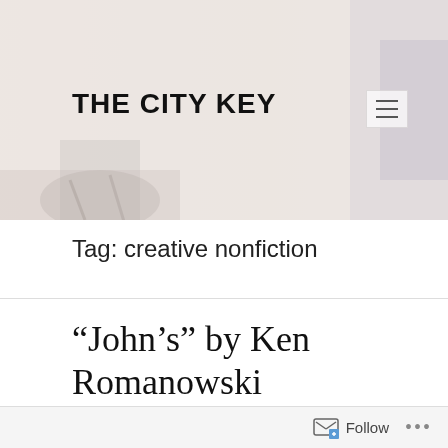[Figure (photo): Website header banner with a blurred/faded background photo (appears to be a street or interior scene with light tones). Contains the site title 'THE CITY KEY' on the left and a hamburger menu icon on the right.]
THE CITY KEY
Tag: creative nonfiction
“John’s” by Ken Romanowski
Over ninety modest row homes occupied the two and three-hundred blocks of East
Follow ...